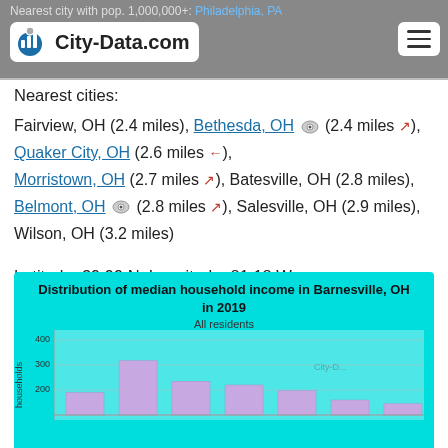Nearest city with pop. 1,000,000+: Philadelphia, PA — City-Data.com
Nearest cities:
Fairview, OH (2.4 miles), Bethesda, OH (2.4 miles →), Quaker City, OH (2.6 miles ←), Morristown, OH (2.7 miles →), Batesville, OH (2.8 miles), Belmont, OH (2.8 miles →), Salesville, OH (2.9 miles), Wilson, OH (3.2 miles)
Latitude: 39.99 N, Longitude: 81.18 W
Area code: 740
[Figure (bar-chart): Distribution of median household income in Barnesville, OH in 2019]